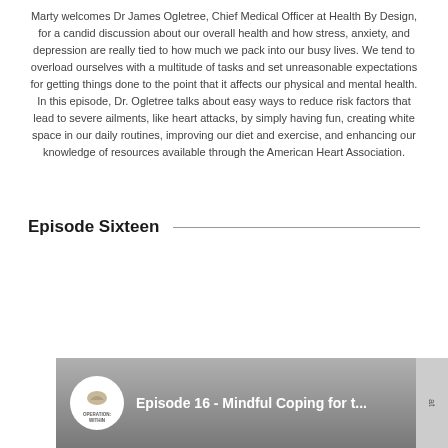Marty welcomes Dr James Ogletree, Chief Medical Officer at Health By Design, for a candid discussion about our overall health and how stress, anxiety, and depression are really tied to how much we pack into our busy lives. We tend to overload ourselves with a multitude of tasks and set unreasonable expectations for getting things done to the point that it affects our physical and mental health. In this episode, Dr. Ogletree talks about easy ways to reduce risk factors that lead to severe ailments, like heart attacks, by simply having fun, creating white space in our daily routines, improving our diet and exercise, and enhancing our knowledge of resources available through the American Heart Association.
Episode Sixteen
[Figure (screenshot): Video thumbnail for 'Episode 16 - Mindful Coping for t...' with Operation Within podcast logo on the left and three-dot menu icon on the right.]